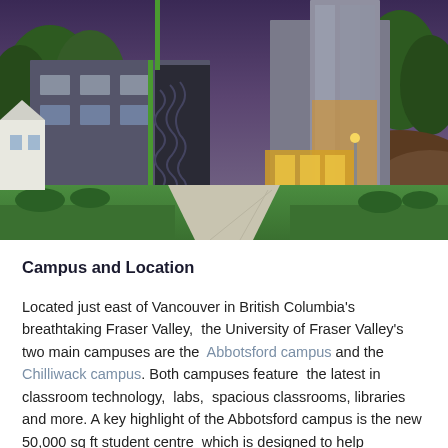[Figure (photo): Exterior photo of a modern university campus building at dusk/evening with green lawn, walkway, trees, large glass windows, and wooden accent panels.]
Campus and Location
Located just east of Vancouver in British Columbia's breathtaking Fraser Valley,  the University of Fraser Valley's two main campuses are the  Abbotsford campus and the Chilliwack campus. Both campuses feature  the latest in classroom technology,  labs,  spacious classrooms, libraries and more. A key highlight of the Abbotsford campus is the new 50,000 sq ft student centre  which is designed to help